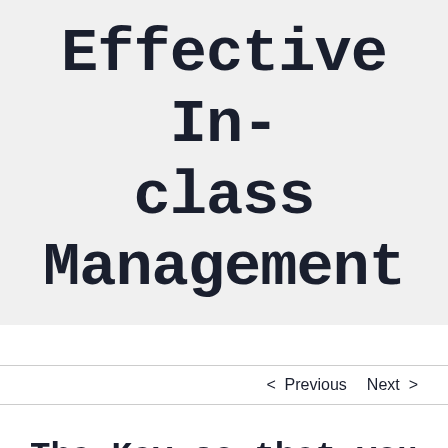Effective In-class Management
< Previous   Next >
The Key so that you can Effective In-class Management